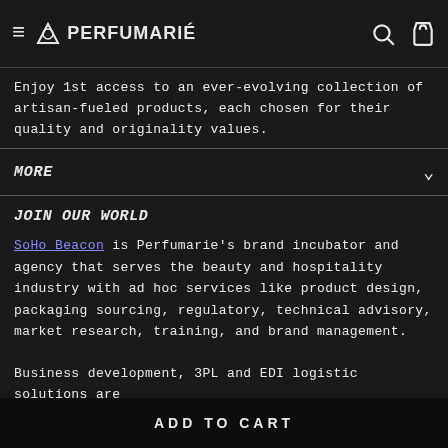≡ PERFUMARIÉ [search] [cart]
Enjoy 1st access to an ever-evolving collection of artisan-fueled products, each chosen for their quality and originality values.
MORE
JOIN OUR WORLD
SoHo Beacon is Perfumarie's brand incubator and agency that serves the beauty and hospitality industry with ad hoc services like product design, packaging sourcing, regulatory, technical advisory, market research, training, and brand management.
Business development, 3PL and EDI logistic solutions are
ADD TO CART